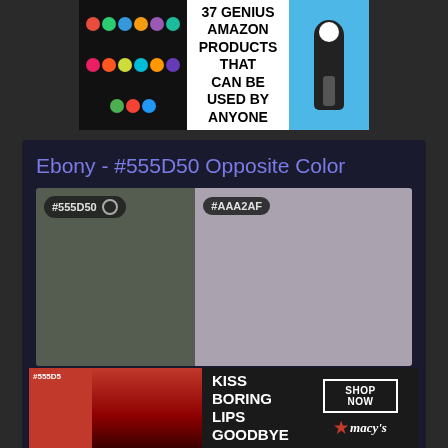[Figure (other): Advertisement banner: '37 GENIUS AMAZON PRODUCTS THAT CAN BE USED BY ANYONE' with colorful scrunchies on left and electric toothbrush on right]
Ebony - #555D50 Opposite Color
[Figure (other): Two color swatches side by side: left is #555D50 (dark olive green, Ebony), right is #AAA2AF (light purple-gray, opposite color)]
Ebony - #555D50 Tints and Shades
Ebony #555d50 Shades
[Figure (other): Advertisement banner: 'KISS BORING LIPS GOODBYE' with model and Macy's logo with SHOP NOW button, partially visible at bottom. Left side shows partial color swatch with #555D5 label.]